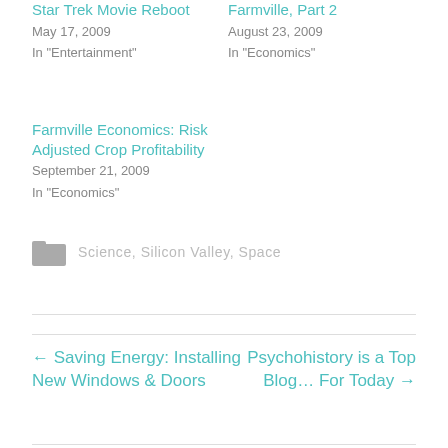Star Trek Movie Reboot
May 17, 2009
In "Entertainment"
Farmville, Part 2
August 23, 2009
In "Economics"
Farmville Economics: Risk Adjusted Crop Profitability
September 21, 2009
In "Economics"
Science, Silicon Valley, Space
← Saving Energy: Installing New Windows & Doors
Psychohistory is a Top Blog… For Today →